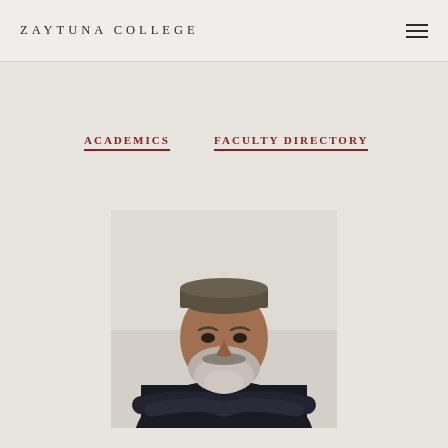ZAYTUNA COLLEGE
ACADEMICS  FACULTY DIRECTORY
[Figure (photo): Portrait photo of a middle-aged man with a grey beard and cap, wearing a dark shirt with arms crossed, against a light background.]
Assistant Professor